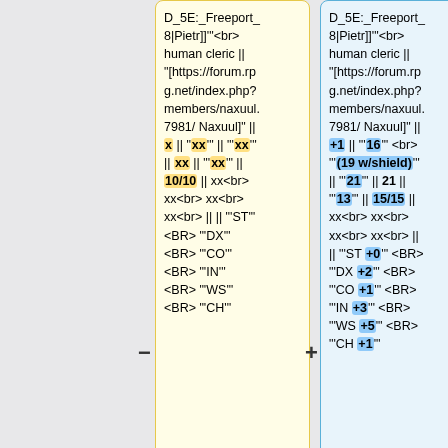| D_5E:_Freeport_8|Pietr]]'"<br> human cleric || "[https://forum.rpg.net/index.php?members/naxuul.7981/ Naxuul]" || x || "'xx'" || "'xx'" || xx || "'xx'" || 10/10 || xx<br> xx<br> xx<br> ||  || "'ST'"<BR> "'DX'"<BR> "'CO'"<BR> "'IN'"<BR> "'WS'"<BR> "'CH'" | D_5E:_Freeport_8|Pietr]]'"<br> human cleric || "[https://forum.rpg.net/index.php?members/naxuul.7981/ Naxuul]" || +1 || "'16'" <br> "'(19 w/shield)'" || "'21'" || 21 || "'13'" || 15/15 || xx<br>  xx<br> xx<br> xx<br> || || "'ST +0'" <BR> "'DX +2'" <BR> "'CO +1'" <BR> "'IN +3'" <BR> "'WS +5'" <BR> "'CH +1'" |